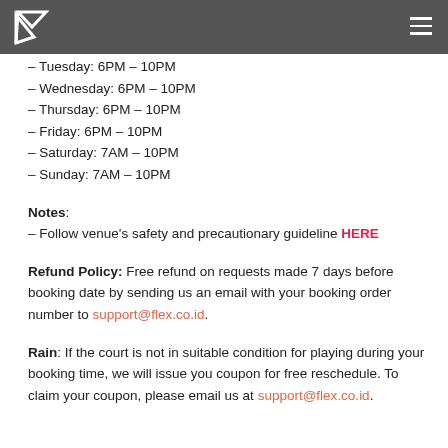– Tuesday: 6PM – 10PM
– Wednesday: 6PM – 10PM
– Thursday: 6PM – 10PM
– Friday: 6PM – 10PM
– Saturday: 7AM – 10PM
– Sunday: 7AM – 10PM
Notes: – Follow venue's safety and precautionary guideline HERE
Refund Policy: Free refund on requests made 7 days before booking date by sending us an email with your booking order number to support@flex.co.id.
Rain: If the court is not in suitable condition for playing during your booking time, we will issue you coupon for free reschedule. To claim your coupon, please email us at support@flex.co.id.